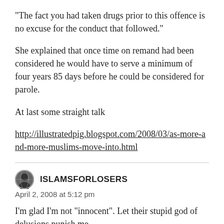“The fact you had taken drugs prior to this offence is no excuse for the conduct that followed.”
She explained that once time on remand had been considered he would have to serve a minimum of four years 85 days before he could be considered for parole.
At last some straight talk
http://illustratedpig.blogspot.com/2008/03/as-more-and-more-muslims-move-into.html
ISLAMSFORLOSERS
April 2, 2008 at 5:12 pm
I’m glad I’m not “innocent”. Let their stupid god of delusions punish me